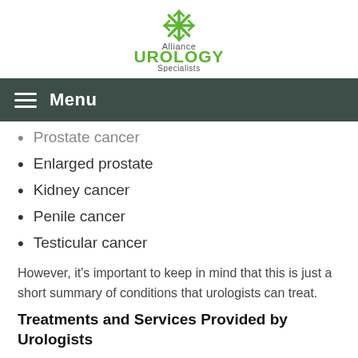[Figure (logo): Alliance Urology Specialists logo with green snowflake/asterisk icon above the text]
Menu
Prostate cancer
Enlarged prostate
Kidney cancer
Penile cancer
Testicular cancer
However, it's important to keep in mind that this is just a short summary of conditions that urologists can treat.
Treatments and Services Provided by Urologists
Urologists can treat and manage the conditions listed above as well as many that are not listed. A physician specializing in urology may offer the following services and treatments: